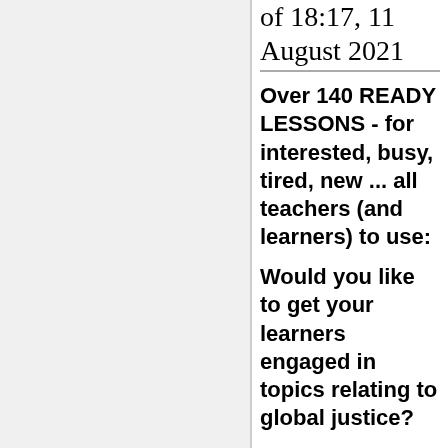of 18:17, 11 August 2021
Over 140 READY LESSONS - for interested, busy, tired, new ... all teachers (and learners) to use:
Would you like to get your learners engaged in topics relating to global justice?